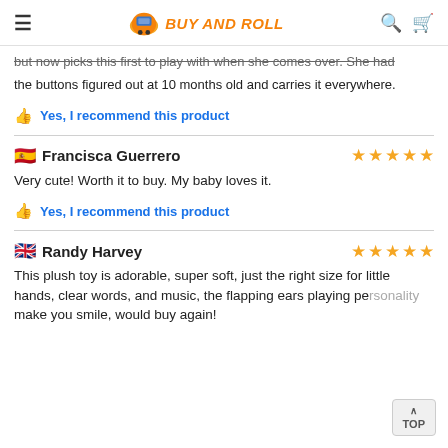BUY AND ROLL
but now picks this first to play with when she comes over. She had the buttons figured out at 10 months old and carries it everywhere.
Yes, I recommend this product
Francisca Guerrero ★★★★★
Very cute! Worth it to buy. My baby loves it.
Yes, I recommend this product
Randy Harvey ★★★★★
This plush toy is adorable, super soft, just the right size for little hands, clear words, and music, the flapping ears playing personality make you smile, would buy again!